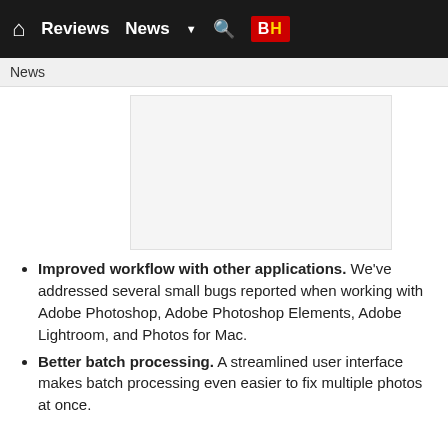Reviews | News | B&H
News
[Figure (other): Advertisement placeholder — white/light grey rectangle]
Improved workflow with other applications. We've addressed several small bugs reported when working with Adobe Photoshop, Adobe Photoshop Elements, Adobe Lightroom, and Photos for Mac.
Better batch processing. A streamlined user interface makes batch processing even easier to fix multiple photos at once.